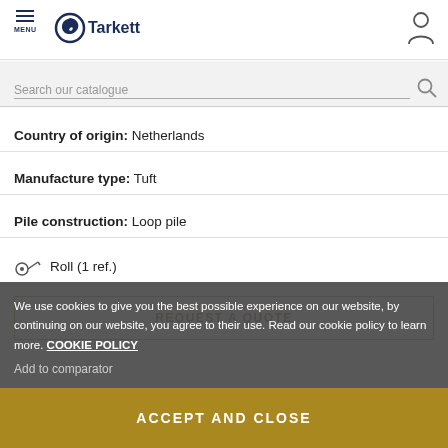MENU | Tarkett
Search our catalogue
Country of origin: Netherlands
Manufacture type: Tuft
Pile construction: Loop pile
Roll (1 ref.)
REQUEST A QUOTE
We use cookies to give you the best possible experience on our website, by continuing on our website, you agree to their use. Read our cookie policy to learn more. COOKIE POLICY
Add to comparator
ACCEPT AND CLOSE